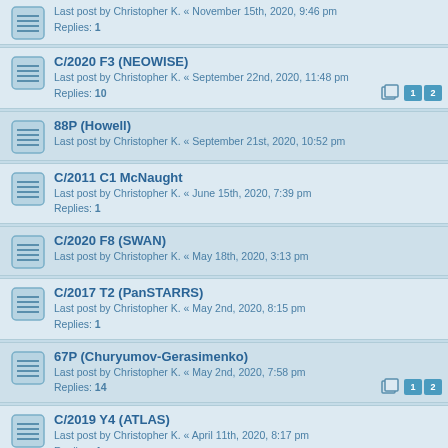Last post by Christopher K. « November 15th, 2020, 9:46 pm
Replies: 1
C/2020 F3 (NEOWISE)
Last post by Christopher K. « September 22nd, 2020, 11:48 pm
Replies: 10
88P (Howell)
Last post by Christopher K. « September 21st, 2020, 10:52 pm
C/2011 C1 McNaught
Last post by Christopher K. « June 15th, 2020, 7:39 pm
Replies: 1
C/2020 F8 (SWAN)
Last post by Christopher K. « May 18th, 2020, 3:13 pm
C/2017 T2 (PanSTARRS)
Last post by Christopher K. « May 2nd, 2020, 8:15 pm
Replies: 1
67P (Churyumov-Gerasimenko)
Last post by Christopher K. « May 2nd, 2020, 7:58 pm
Replies: 14
C/2019 Y4 (ATLAS)
Last post by Christopher K. « April 11th, 2020, 8:17 pm
Replies: 4
2I/2019 Q4 (Borisov)
Last post by Christopher K. « December 11th, 2019, 5:18 pm
Replies: 1
Comet Near Vega? (4 Dec 2019)